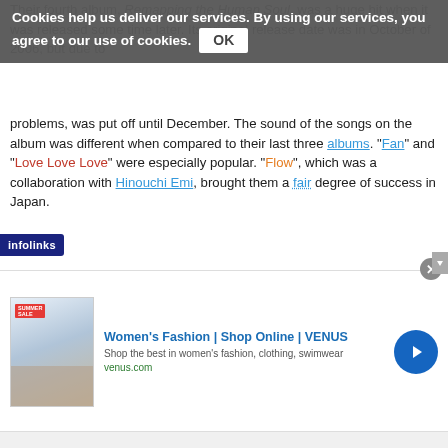Their fourth album, Remapping the Human Soul, was a huge hit when it was released some time later. Its original release date was in October of 2006, but due to problems, was put off until December. The sound of the songs on the album was different when compared to their last three albums. "Fan" and "Love Love Love" were especially popular. "Flow", which was a collaboration with Hinouchi Emi, brought them a fair degree of success in Japan.
In 2010, Tablo and Mithra Jin released the special album Epilogue while DJ Tukutz was serving his mandatory service. Since August, 2010 to May, 2012 Mithra Jin also enlisted for his mandatory service. In September 2011 Tablo debuted as a solo artist under YG Entertainment, and two years later in October 2012 the whole group also signed under YG with the digital single "Chunde".
Women's Fashion | Shop Online | VENUS
Shop the best in women's fashion, clothing, swimwear
venus.com